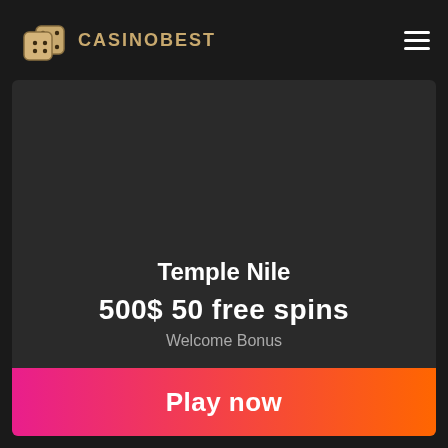[Figure (logo): CasinoBest logo with two golden dice and bold text CASINOBEST in golden/tan color on dark background]
Temple Nile
500$ 50 free spins
Welcome Bonus
Play now